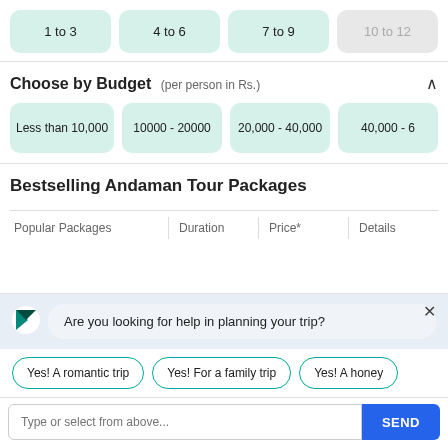1 to 3
4 to 6
7 to 9
10 to 12
Choose by Budget (per person in Rs.)
Less than 10,000
10000 - 20000
20,000 - 40,000
40,000 - 6...
Bestselling Andaman Tour Packages
| Popular Packages | Duration | Price* | Details |
| --- | --- | --- | --- |
Are you looking for help in planning your trip?
Yes! A romantic trip
Yes! For a family trip
Yes! A honey...
Type or select from above...
SEND